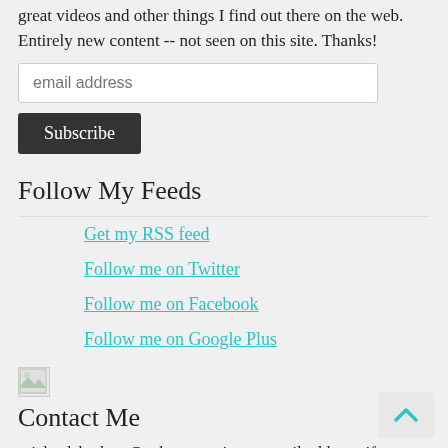great videos and other things I find out there on the web. Entirely new content -- not seen on this site. Thanks!
[Figure (other): Email address input field with placeholder text 'email address']
[Figure (other): Subscribe button (dark background, white text)]
Follow My Feeds
Get my RSS feed
Follow me on Twitter
Follow me on Facebook
Follow me on Google Plus
[Figure (other): Broken/placeholder image icon]
Contact Me
michaelshodson@yahoo.com is my email address, if you have any questions, comments or business opportunities.